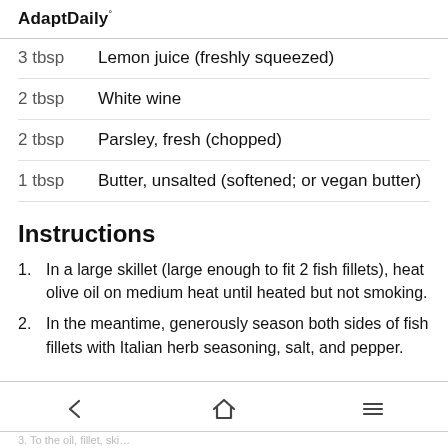AdaptDaily°
3 tbsp   Lemon juice (freshly squeezed)
2 tbsp   White wine
2 tbsp   Parsley, fresh (chopped)
1 tbsp   Butter, unsalted (softened; or vegan butter)
Instructions
1. In a large skillet (large enough to fit 2 fish fillets), heat olive oil on medium heat until heated but not smoking.
2. In the meantime, generously season both sides of fish fillets with Italian herb seasoning, salt, and pepper.
3. To the [back] [home] oil, [menu] fillet, ski…